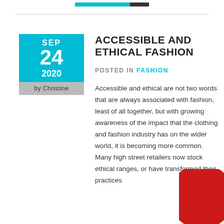[cyan and dark bar]
[Figure (illustration): Date badge with cyan background showing SEP 24 2020 and gray strip below with 'by Christine']
ACCESSIBLE AND ETHICAL FASHION
POSTED IN FASHION
Accessible and ethical are not two words that are always associated with fashion, least of all together, but with growing awareness of the impact that the clothing and fashion industry has on the wider world, it is becoming more common. Many high street retailers now stock ethical ranges, or have transformed their practices
[Figure (photo): Red leather or fabric circular shape partially visible in bottom right corner]